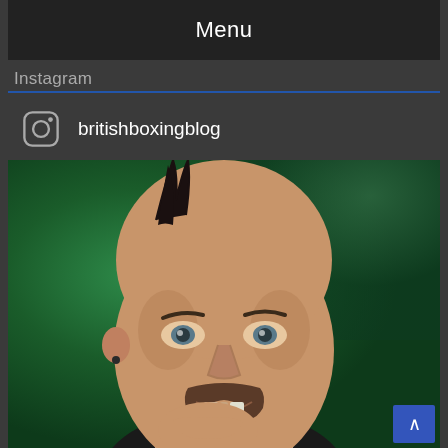Menu
Instagram
britishboxingblog
[Figure (photo): Close-up photo of a bald man with a small mohawk strip of hair on the left side of his head, a horseshoe mustache, smiling widely with a missing front tooth, wearing a black jacket and patterned shirt/tie, hand raised near his mouth, photographed against a blurred green foliage background.]